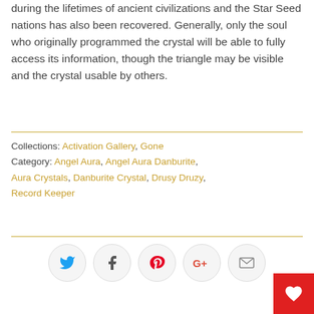during the lifetimes of ancient civilizations and the Star Seed nations has also been recovered. Generally, only the soul who originally programmed the crystal will be able to fully access its information, though the triangle may be visible and the crystal usable by others.
Collections: Activation Gallery, Gone
Category: Angel Aura, Angel Aura Danburite, Aura Crystals, Danburite Crystal, Drusy Druzy, Record Keeper
[Figure (infographic): Social sharing buttons: Twitter (blue bird), Facebook (f), Pinterest (p), Google+ (G+), Email (envelope icon). Below right corner: red wishlist heart button.]